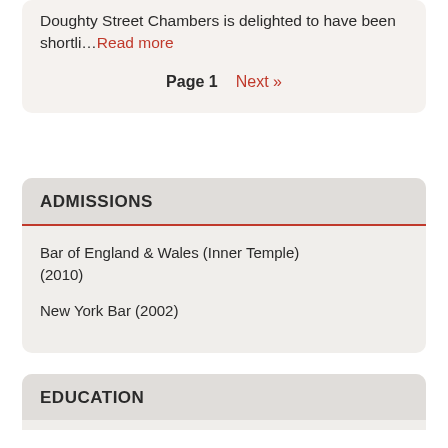Doughty Street Chambers is delighted to have been shortli…Read more
Page 1  Next »
ADMISSIONS
Bar of England & Wales (Inner Temple) (2010)
New York Bar (2002)
EDUCATION